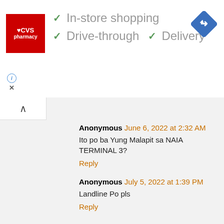[Figure (screenshot): CVS Pharmacy advertisement banner showing In-store shopping, Drive-through, and Delivery options with green checkmarks, CVS logo, and navigation icon]
Anonymous June 6, 2022 at 2:32 AM
Ito po ba Yung Malapit sa NAIA TERMINAL 3?
Reply
Anonymous July 5, 2022 at 1:39 PM
Landline Po pls
Reply
Anonymous July 30, 2022 at 2:23 PM
My landline poh kau..asap.
Reply